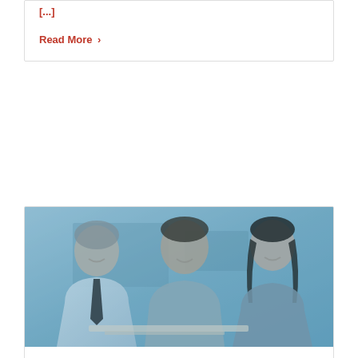[...]
Read More >
[Figure (photo): Three people (an older man in white shirt and dark tie, a younger man, and a woman) sitting together smiling and reviewing a document, blue-tinted photo]
Perils Of Pricing Too High